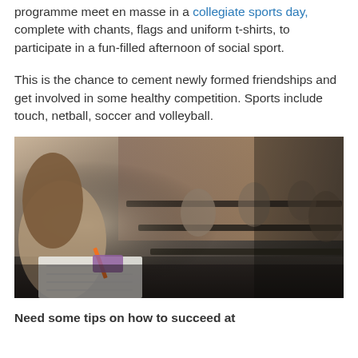programme meet en masse in a collegiate sports day, complete with chants, flags and uniform t-shirts, to participate in a fun-filled afternoon of social sport.
This is the chance to cement newly formed friendships and get involved in some healthy competition. Sports include touch, netball, soccer and volleyball.
[Figure (photo): Students sitting in a lecture hall, taking notes. A female student in the foreground holds an orange pencil and writes in a notebook, with other students visible in rows behind her in a tiered lecture theatre.]
Need some tips on how to succeed at